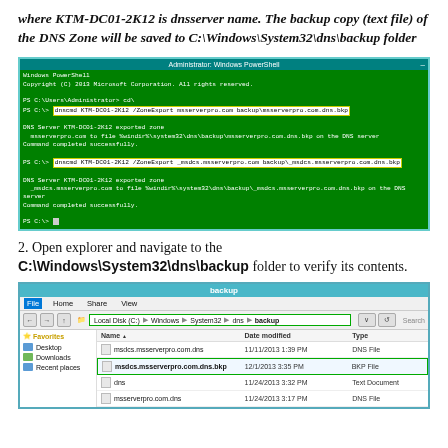where KTM-DC01-2K12 is dnsserver name. The backup copy (text file) of the DNS Zone will be saved to C:\Windows\System32\dns\backup folder
[Figure (screenshot): Windows PowerShell screenshot showing dnscmd commands to export DNS zones for msserverpro.com and _msdcs.msserverpro.com to backup files]
2. Open explorer and navigate to the C:\Windows\System32\dns\backup folder to verify its contents.
[Figure (screenshot): Windows Explorer showing the backup folder contents with files including msdcs.msserverpro.com.dns, msdcs.msserverpro.com.dns.bkp (highlighted), dns, and msserverpro.com.dns]